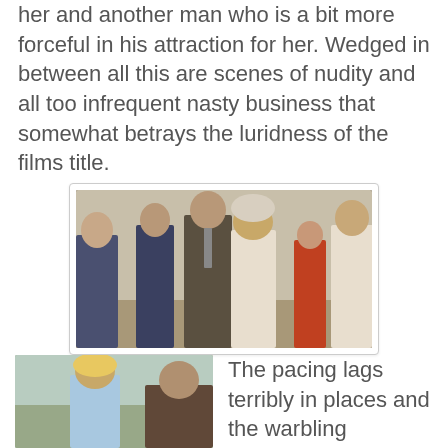her and another man who is a bit more forceful in his attraction for her. Wedged in between all this are scenes of nudity and all too infrequent nasty business that somewhat betrays the luridness of the films title.
[Figure (photo): A movie still showing a group of people, including a blonde woman in a white top wearing a knit hat, and several men and women standing together in an indoor setting.]
[Figure (photo): A movie still showing a blonde woman in a light blue top outdoors.]
The pacing lags terribly in places and the warbling soundtrack reinforces the